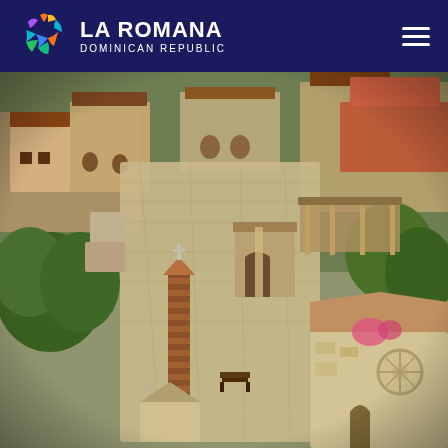[Figure (logo): La Romana Dominican Republic colorful logo with swirl icon on dark navy background header bar, with hamburger menu icon on right]
[Figure (photo): Aerial view of Altos de Chavon village in La Romana, Dominican Republic, showing stone buildings, cobblestone streets, a tall brick obelisk with a cross, a stone chapel with rose window, lush green trees, and Mediterranean-style architecture]